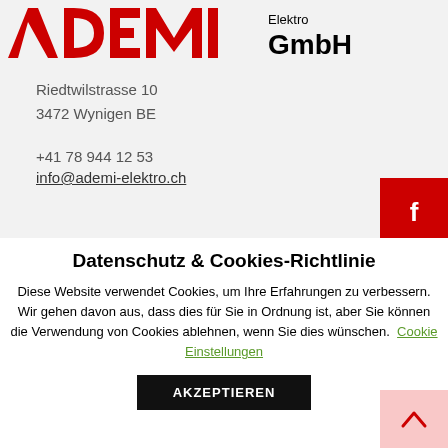[Figure (logo): Ademi Elektro GmbH logo with red stylized letters and black GmbH text]
Riedtwilstrasse 10
3472 Wynigen BE
+41 78 944 12 53
info@ademi-elektro.ch
Datenschutz & Cookies-Richtlinie
Diese Website verwendet Cookies, um Ihre Erfahrungen zu verbessern. Wir gehen davon aus, dass dies für Sie in Ordnung ist, aber Sie können die Verwendung von Cookies ablehnen, wenn Sie dies wünschen. Cookie Einstellungen
AKZEPTIEREN